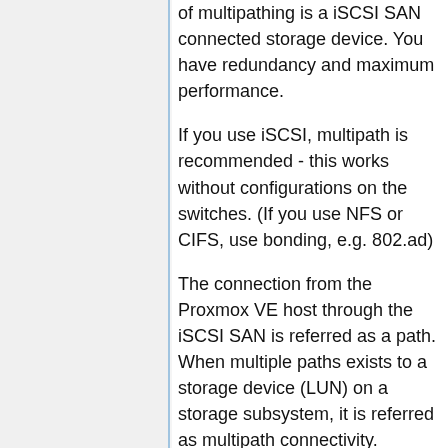of multipathing is a iSCSI SAN connected storage device. You have redundancy and maximum performance.
If you use iSCSI, multipath is recommended - this works without configurations on the switches. (If you use NFS or CIFS, use bonding, e.g. 802.ad)
The connection from the Proxmox VE host through the iSCSI SAN is referred as a path. When multiple paths exists to a storage device (LUN) on a storage subsystem, it is referred as multipath connectivity. Therefore you need to make sure that you got at least two NICs dedicated for iSCSI, using separate networks (and switches to be protected against switch failures).
This is a generic how-to. Please consult